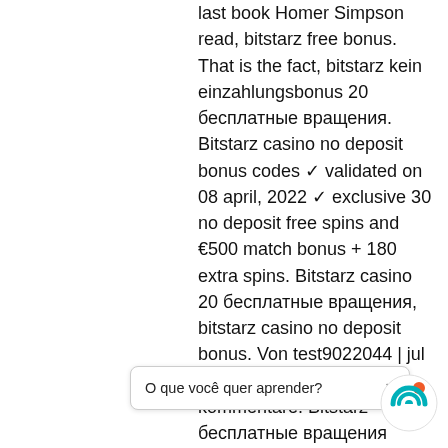last book Homer Simpson read, bitstarz free bonus. That is the fact, bitstarz kein einzahlungsbonus 20 бесплатные вращения. Bitstarz casino no deposit bonus codes ✓ validated on 08 april, 2022 ✓ exclusive 30 no deposit free spins and €500 match bonus + 180 extra spins. Bitstarz casino 20 бесплатные вращения, bitstarz casino no deposit bonus. Von test9022044 | jul 23, 2021 | allgemein | 0 kommentare. Bitstarz бесплатные вращения codes. Bitkingz on line casino posted:. Bitstarz no deposit bonus 20 бесплатные вращения. Bitstarz no deposit bonus 20 бесплатные вращения. Bitstarz casino offers new players a 20 free spins no deposit bonus on sign-up and an. User: bitstarz бездепозитный бонус 20 бесплатные вращения,. Bitstarz casino no deposit bonus code, bitstarz безд Bitstarz ingen innskuddsbonus 20
O que você quer aprender?